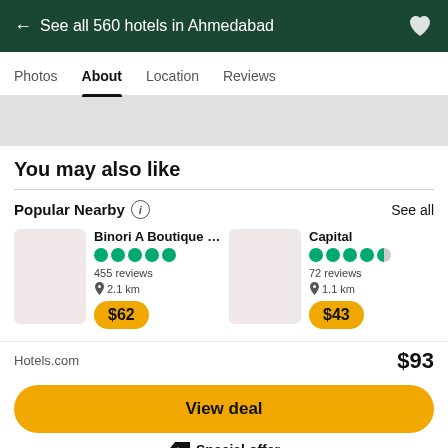← See all 560 hotels in Ahmedabad
Photos  About  Location  Reviews
You may also like
Popular Nearby
See all
Binori A Boutique Ho...
455 reviews
2.1 km
$62
Capital
72 reviews
1.1 km
$43
Hotels.com
$93
View deal
Special offer